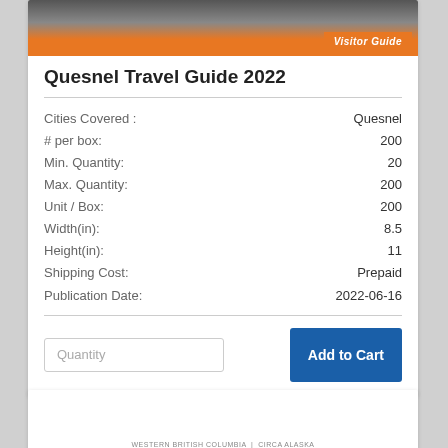[Figure (photo): Quesnel Visitor Guide book cover image with orange banner]
Quesnel Travel Guide 2022
| Field | Value |
| --- | --- |
| Cities Covered : | Quesnel |
| # per box: | 200 |
| Min. Quantity: | 20 |
| Max. Quantity: | 200 |
| Unit / Box: | 200 |
| Width(in): | 8.5 |
| Height(in): | 11 |
| Shipping Cost: | Prepaid |
| Publication Date: | 2022-06-16 |
Quantity | Add to Cart
[Figure (other): Bottom partial card with WESTERN BRITISH COLUMBIA text]